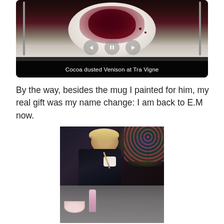[Figure (photo): Slideshow image of a plate of Cocoa dusted Venison at Tra Vigne restaurant, shown with navigation controls (previous, pause, next buttons) and a black caption bar at the bottom.]
Cocoa dusted Venison at Tra Vigne
By the way, besides the mug I painted for him, my real gift was my name change: I am back to E.M now.
[Figure (photo): Person painting a mug at a table covered with art supplies including paint bottles, bowls, and brushes. Colorful background visible.]